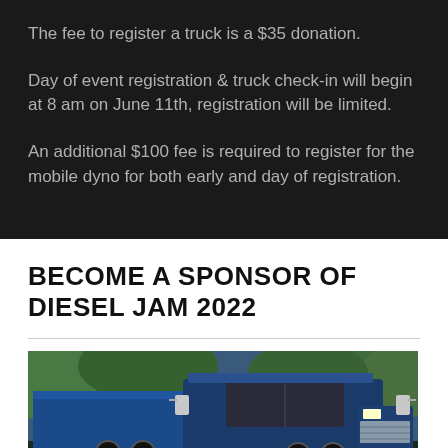The fee to register a truck is a $35 donation.
Day of event registration & truck check-in will begin at 8 am on June 11th, registration will be limited.
An additional $100 fee is required to register for the mobile dyno for both early and day of registration.
BECOME A SPONSOR OF DIESEL JAM 2022
[Figure (photo): Blue semi-truck cab with chrome mirrors photographed outdoors with green trees in the background]